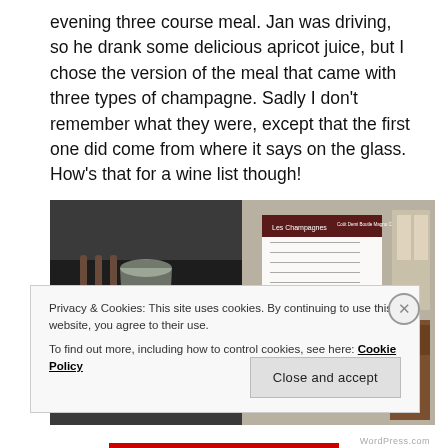evening three course meal. Jan was driving, so he drank some delicious apricot juice, but I chose the version of the meal that came with three types of champagne. Sadly I don't remember what they were, except that the first one did come from where it says on the glass. How's that for a wine list though!
[Figure (photo): Two side-by-side photos: left shows a champagne flute on a dark background; right shows a wine list menu in a restaurant setting.]
Privacy & Cookies: This site uses cookies. By continuing to use this website, you agree to their use.
To find out more, including how to control cookies, see here: Cookie Policy
Close and accept